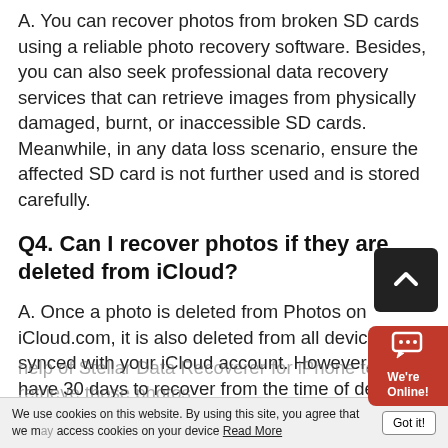A. You can recover photos from broken SD cards using a reliable photo recovery software. Besides, you can also seek professional data recovery services that can retrieve images from physically damaged, burnt, or inaccessible SD cards. Meanwhile, in any data loss scenario, ensure the affected SD card is not further used and is stored carefully.
Q4. Can I recover photos if they are deleted from iCloud?
A. Once a photo is deleted from Photos on iCloud.com, it is also deleted from all devices synced with your iCloud account. However, you have 30 days to recover from the time of deleting it before it is permanently deleted. Else, take the help of Stellar Data Recoverer for iPhone to retrieve those photos.
We use cookies on this website. By using this site, you agree that we may access cookies on your device Read More   Got it!